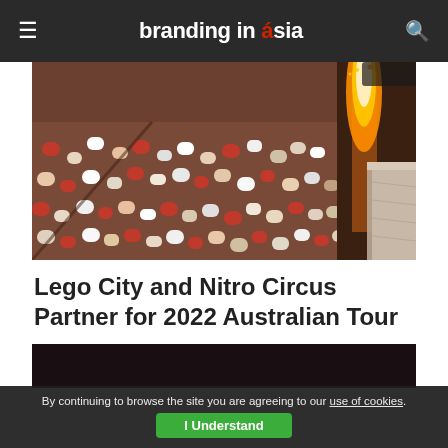branding in asia
[Figure (photo): Crowd at Nitro Circus event with fire/pyrotechnic display on right side]
Lego City and Nitro Circus Partner for 2022 Australian Tour
AUG 30, 2022
[Figure (photo): Partial second image, mostly dark/black, bottom of page]
By continuing to browse the site you are agreeing to our use of cookies.
I Understand